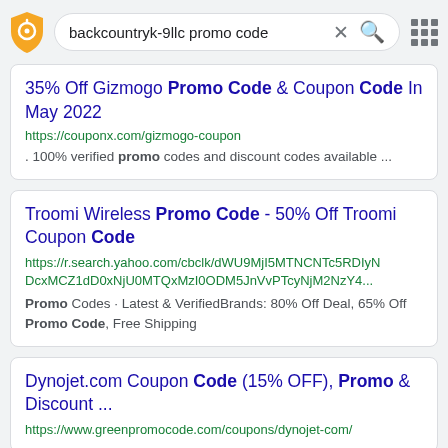[Figure (screenshot): Search bar with shield logo icon, search query 'backcountryk-9llc promo code', X close button, red search icon, and grid menu icon]
35% Off Gizmogo Promo Code & Coupon Code In May 2022
https://couponx.com/gizmogo-coupon
. 100% verified promo codes and discount codes available ...
Troomi Wireless Promo Code - 50% Off Troomi Coupon Code
https://r.search.yahoo.com/cbclk/dWU9MjI5MTNCNTc5RDIyNDcxMCZ1dD0xNjU0MTQxMzI0ODM5JnVvPTcyNjM2NzY4...
Promo Codes · Latest & VerifiedBrands: 80% Off Deal, 65% Off Promo Code, Free Shipping
Dynojet.com Coupon Code (15% OFF), Promo & Discount ...
https://www.greenpromocode.com/coupons/dynojet-com/